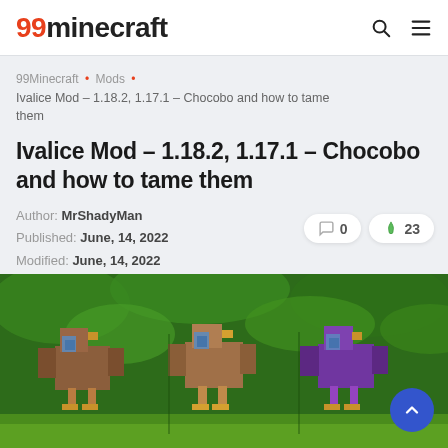99minecraft
99Minecraft • Mods • Ivalice Mod – 1.18.2, 1.17.1 – Chocobo and how to tame them
Ivalice Mod – 1.18.2, 1.17.1 – Chocobo and how to tame them
Author: MrShadyMan
Published: June, 14, 2022
Modified: June, 14, 2022
[Figure (screenshot): Three blocky Minecraft-style Chocobo bird mobs shown from behind in a green jungle environment. Left bird is brown/reddish, middle is brown/tan with green background, right is purple. Blue feather highlights visible on each.]